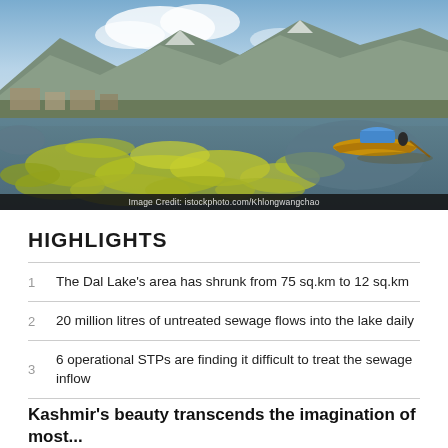[Figure (photo): Aerial/panoramic view of Dal Lake, Kashmir, showing yellow-green aquatic vegetation covering the water surface, a traditional shikara boat on the right, and mountains and buildings in the background under a cloudy sky.]
Image Credit: istockphoto.com/Khlongwangchao
HIGHLIGHTS
The Dal Lake's area has shrunk from 75 sq.km to 12 sq.km
20 million litres of untreated sewage flows into the lake daily
6 operational STPs are finding it difficult to treat the sewage inflow
Kashmir's beauty transcends the imagination of most...